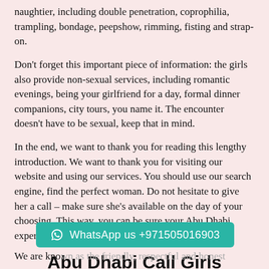naughtier, including double penetration, coprophilia, trampling, bondage, peepshow, rimming, fisting and strap-on.
Don't forget this important piece of information: the girls also provide non-sexual services, including romantic evenings, being your girlfriend for a day, formal dinner companions, city tours, you name it. The encounter doesn't have to be sexual, keep that in mind.
In the end, we want to thank you for reading this lengthy introduction. We want to thank you for visiting our website and using our services. You should use our search engine, find the perfect woman. Do not hesitate to give her a call – make sure she's available on the day of your choosing. This way, you can be sure your Abu Dhabi experience is going to be unforgettable!
Abu Dhabi Call Girls
WhatsApp us +971505016903
We are kno... as the friendly, respectful and honest